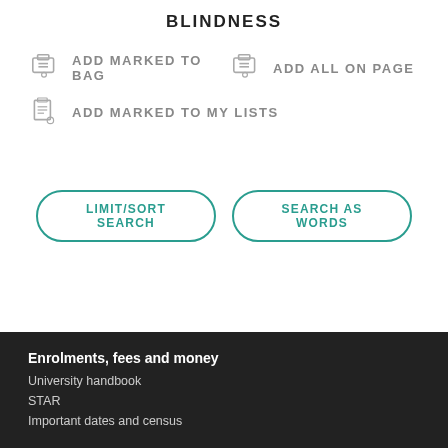BLINDNESS
ADD MARKED TO BAG
ADD ALL ON PAGE
ADD MARKED TO MY LISTS
LIMIT/SORT SEARCH
SEARCH AS WORDS
Enrolments, fees and money
University handbook
STAR
Important dates and census